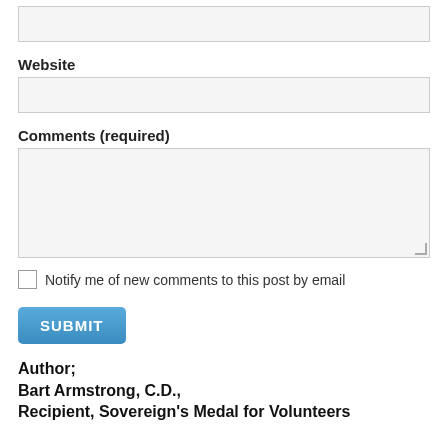[Figure (screenshot): Empty text input field at top of page]
Website
[Figure (screenshot): Empty text input field for website]
Comments (required)
[Figure (screenshot): Empty textarea field for comments with resize handle]
Notify me of new comments to this post by email
[Figure (screenshot): SUBMIT button]
Author;
Bart Armstrong, C.D.,
Recipient, Sovereign's Medal for Volunteers